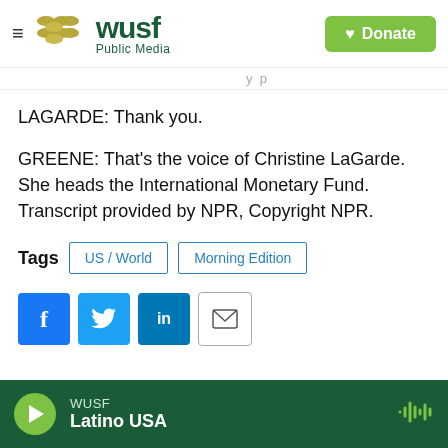WUSF Public Media  |  Donate
LAGARDE: Thank you.
GREENE: That's the voice of Christine LaGarde. She heads the International Monetary Fund. Transcript provided by NPR, Copyright NPR.
Tags  US / World  Morning Edition
[Figure (other): Social sharing icons: Facebook, Twitter, LinkedIn, Email]
WUSF  Latino USA